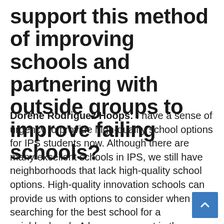support this method of improving schools and partnering with outside groups to improve failing schools?
Dorene Rodriguez Hoops: I have a sense of urgency to provide high-quality school options for IPS students now. Although there are many excellent schools in IPS, we still have neighborhoods that lack high-quality school options. High-quality innovation schools can provide us with options to consider when searching for the best school for a neighborhood.  A key component in the success of a new school is effective family and community engagement to gather vital input on what type of academic program serves the needs of students best in a